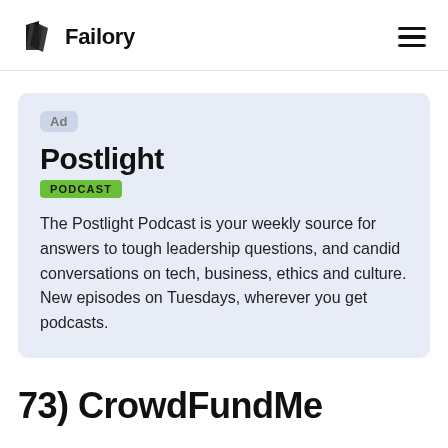Failory
[Figure (other): Failory logo consisting of a stylized book/page icon and the text 'Failory' in bold]
Ad
Postlight
PODCAST
The Postlight Podcast is your weekly source for answers to tough leadership questions, and candid conversations on tech, business, ethics and culture. New episodes on Tuesdays, wherever you get podcasts.
73) CrowdFundMe